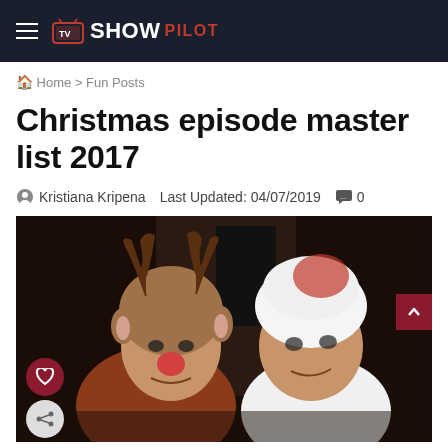TV SHOW PILOT
Home > Fun Posts
Christmas episode master list 2017
Kristiana Kripena   Last Updated: 04/07/2019   0
[Figure (photo): Two people in Christmas costumes — one dressed as a reindeer with antler hat and red nose, the other dressed as Santa with a white fluffy hat — posing together indoors.]